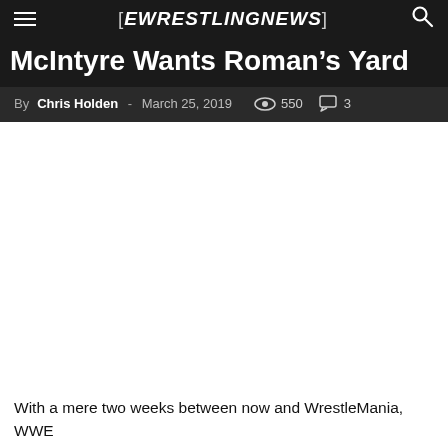[EWRESTLINGNEWS]
McIntyre Wants Roman's Yard
By Chris Holden - March 25, 2019  550  3
With a mere two weeks between now and WrestleMania, WWE